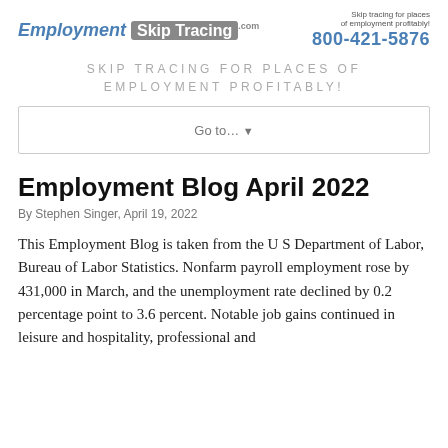Employment Skip Tracing | Skip tracing for places of employment profitably! | 800-421-5876
SKIP TRACING FOR PLACES OF EMPLOYMENT PROFITABLY!
Go to... ▼
Employment Blog April 2022
By Stephen Singer, April 19, 2022
This Employment Blog is taken from the U S Department of Labor, Bureau of Labor Statistics. Nonfarm payroll employment rose by 431,000 in March, and the unemployment rate declined by 0.2 percentage point to 3.6 percent. Notable job gains continued in leisure and hospitality, professional and